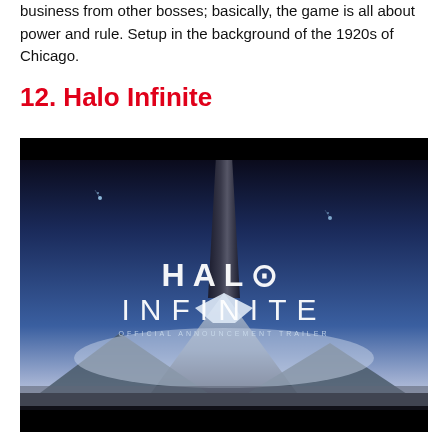business from other bosses; basically, the game is all about power and rule. Setup in the background of the 1920s of Chicago.
12. Halo Infinite
[Figure (photo): Halo Infinite Official Announcement Trailer screenshot showing a tall dark monolith structure rising above snowy mountains under a blue night sky, with the text 'HALO INFINITE OFFICIAL ANNOUNCEMENT TRAILER' overlaid in white.]